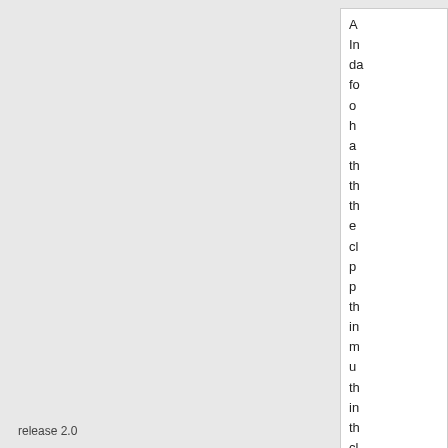A In d fo o h a th th th e c p p th in m u th in th c
release 2.0